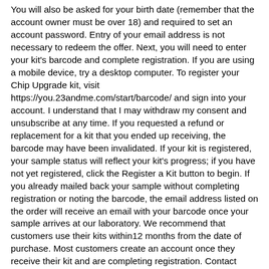You will also be asked for your birth date (remember that the account owner must be over 18) and required to set an account password. Entry of your email address is not necessary to redeem the offer. Next, you will need to enter your kit's barcode and complete registration. If you are using a mobile device, try a desktop computer. To register your Chip Upgrade kit, visit https://you.23andme.com/start/barcode/ and sign into your account. I understand that I may withdraw my consent and unsubscribe at any time. If you requested a refund or replacement for a kit that you ended up receiving, the barcode may have been invalidated. If your kit is registered, your sample status will reflect your kit's progress; if you have not yet registered, click the Register a Kit button to begin. If you already mailed back your sample without completing registration or noting the barcode, the email address listed on the order will receive an email with your barcode once your sample arrives at our laboratory. We recommend that customers use their kits within12 months from the date of purchase. Most customers create an account once they receive their kit and are completing registration. Contact Customer Care to request a free replacement. "Genetic & Self-Reported Information" refers to: Self-Reported Information includes any information you submitted prior to giving consent. ... We have designed our service to give customers control over how much information they share. If you are new to 23andMe, you can create an account at the beginning of the registration process. Threads in This Forum. and benefit from the human genome. is stored separately from your genetic data, and connecting the two would require breaching several layers of security. (Look at you go.). If you created your 23andMe account using your Google or Apple®